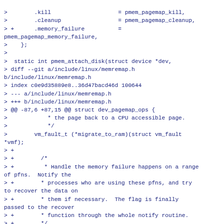>        .kill                    = pmem_pagemap_kill,
>        .cleanup                 = pmem_pagemap_cleanup,
> +      .memory_failure          =
pmem_pagemap_memory_failure,
>    };
>
>  static int pmem_attach_disk(struct device *dev,
> diff --git a/include/linux/memremap.h
b/include/linux/memremap.h
> index c0e9d35889e8..36d47bacd46d 100644
> --- a/include/linux/memremap.h
> +++ b/include/linux/memremap.h
> @@ -87,6 +87,15 @@ struct dev_pagemap_ops {
>            * the page back to a CPU accessible page.
>            */
>        vm_fault_t (*migrate_to_ram)(struct vm_fault
*vmf);
> +
> +        /*
> +         * Handle the memory failure happens on a range
of pfns.  Notify the
> +        * processes who are using these pfns, and try
to recover the data on
> +        * them if necessary.  The flag is finally
passed to the recover
> +        * function through the whole notify routine.
> +        */
> +        int (*memory_failure)(struct dev_pagemap
*pgmap, unsigned long pfn,
> +                              size_t size, int flags);
> +